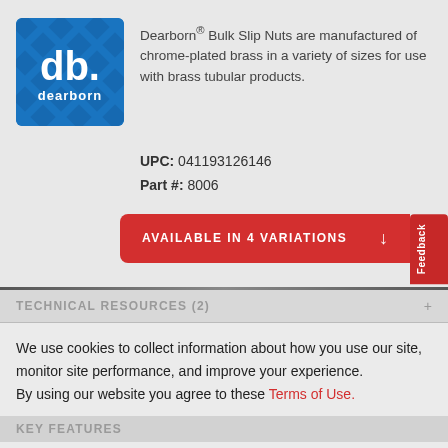[Figure (logo): Dearborn brand logo: blue square with 'db.' text in white and 'dearborn' below in white, with diamond pattern background]
Dearborn® Bulk Slip Nuts are manufactured of chrome-plated brass in a variety of sizes for use with brass tubular products.
UPC: 041193126146
Part #: 8006
AVAILABLE IN 4 VARIATIONS
TECHNICAL RESOURCES (2)
We use cookies to collect information about how you use our site, monitor site performance, and improve your experience. By using our website you agree to these Terms of Use.
KEY FEATURES
I AGREE